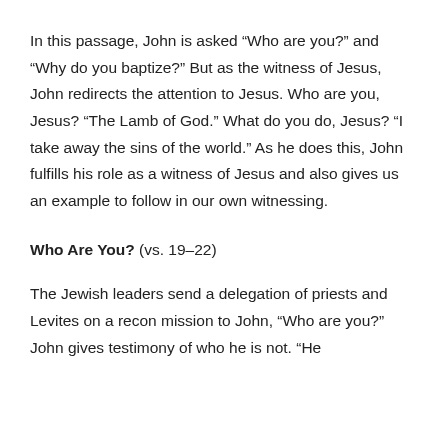In this passage, John is asked “Who are you?” and “Why do you baptize?” But as the witness of Jesus, John redirects the attention to Jesus. Who are you, Jesus? “The Lamb of God.” What do you do, Jesus? “I take away the sins of the world.” As he does this, John fulfills his role as a witness of Jesus and also gives us an example to follow in our own witnessing.
Who Are You? (vs. 19–22)
The Jewish leaders send a delegation of priests and Levites on a recon mission to John, “Who are you?” John gives testimony of who he is not. “He